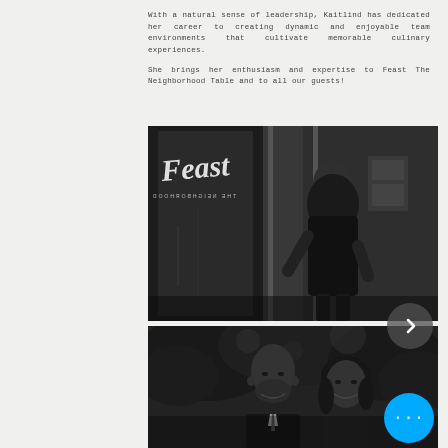With a natural sense of leadership, Kaitlind has dedicated her career to creating dynamic and enjoyable team environments that cultivate memorable culinary experiences.

She brings her enthusiasm and expertise to Feast The Neighborhood Table and to all our guests!
[Figure (photo): Black and white photo of a woman in a black dress standing and smiling in front of the Feast The Neighborhood Table restaurant entrance, with the Feast logo visible in cursive on the glass door.]
[Figure (photo): Black and white photo of a smiling bald man in a suit and a woman with dark hair, photographed outdoors with trees in the background.]